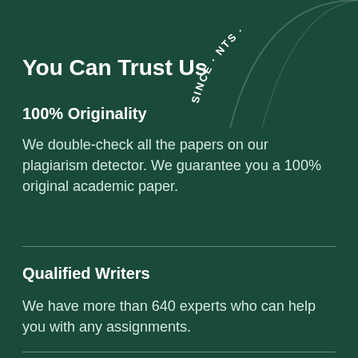[Figure (illustration): Decorative circular arc with text 'SINCE' and partial letters visible in the top-right corner of the page, rendered in white on dark green background]
You Can Trust Us
100% Originality
We double-check all the papers on our plagiarism detector. We guarantee you a 100% original academic paper.
Qualified Writers
We have more than 640 experts who can help you with any assignments.